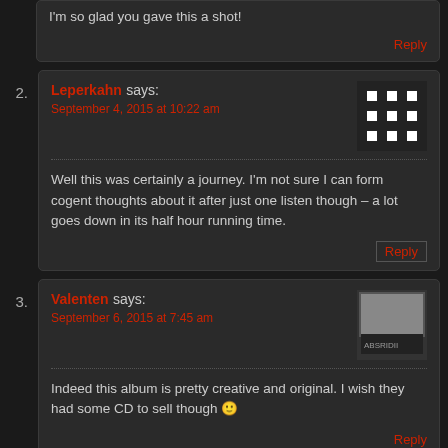I'm so glad you gave this a shot!
Reply
2. Leperkahn says: September 4, 2015 at 10:22 am
Well this was certainly a journey. I'm not sure I can form cogent thoughts about it after just one listen though – a lot goes down in its half hour running time.
Reply
3. Valenten says: September 6, 2015 at 7:45 am
Indeed this album is pretty creative and original. I wish they had some CD to sell though 🙂
Reply